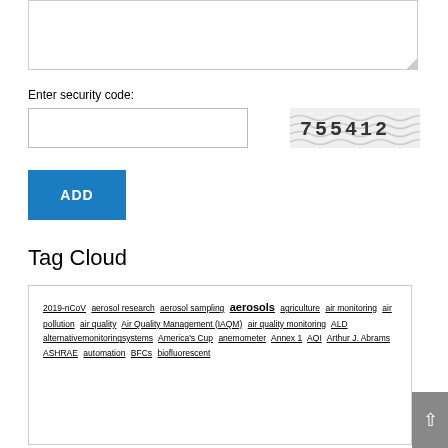[Figure (other): Textarea input box with resize handle at bottom-right corner]
Enter security code:
[Figure (other): Security code input field (text box)]
[Figure (other): CAPTCHA image showing the code '755412' with wavy background pattern]
[Figure (other): Blue ADD button]
Tag Cloud
2019-nCoV aerosol research aerosol sampling aerosols agriculture air monitoring air pollution air quality Air Quality Management (IAQM) air quality monitoring ALD alternativemonitoringsystems America's Cup anemometer Annex 1 AQI Arthur J. Abrams ASHRAE automation BFCs biofluorescent